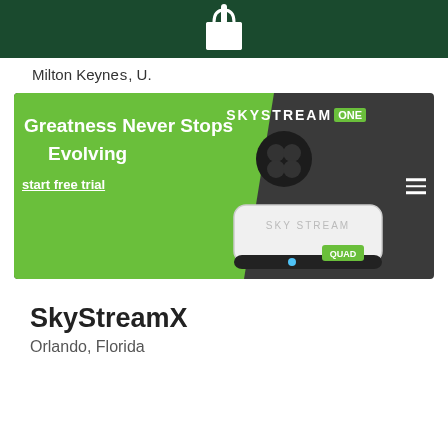[Figure (screenshot): Dark green header bar with white shopping bag icon]
Milton Keynes, U.
[Figure (screenshot): SkyStream ONE banner showing a white media streaming box against green and dark grey background with text 'Greatness Never Stops Evolving' and 'start free trial' link]
SkyStreamX
Orlando, Florida